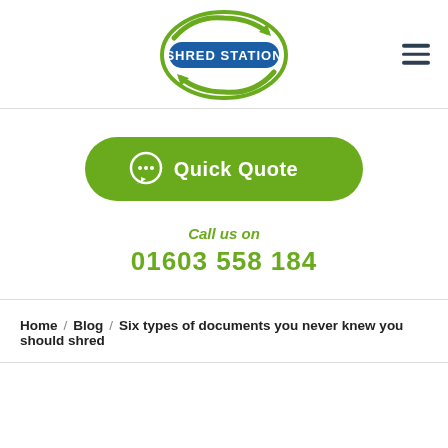Shred Station logo header with hamburger menu
[Figure (logo): Shred Station logo: blue oval badge with white text 'SHRED STATION' and green recycling arrows around it]
[Figure (other): Quick Quote button - green rounded rectangle with chat bubble icon and text 'Quick Quote']
Call us on
01603 558 184
Home / Blog / Six types of documents you never knew you should shred